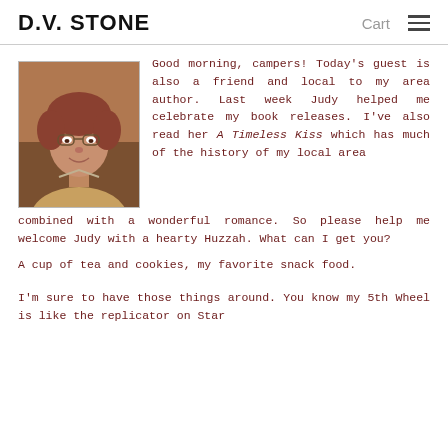D.V. STONE  Cart
[Figure (photo): Portrait photo of an older woman with short reddish-brown hair and glasses, smiling, wearing a light-colored top]
Good morning, campers! Today's guest is also a friend and local to my area author. Last week Judy helped me celebrate my book releases. I've also read her A Timeless Kiss which has much of the history of my local area combined with a wonderful romance. So please help me welcome Judy with a hearty Huzzah. What can I get you?
A cup of tea and cookies, my favorite snack food.
I'm sure to have those things around. You know my 5th Wheel is like the replicator on Star